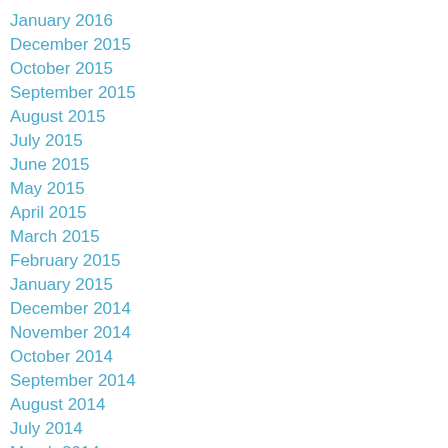January 2016
December 2015
October 2015
September 2015
August 2015
July 2015
June 2015
May 2015
April 2015
March 2015
February 2015
January 2015
December 2014
November 2014
October 2014
September 2014
August 2014
July 2014
March 2014
February 2014
January 2014